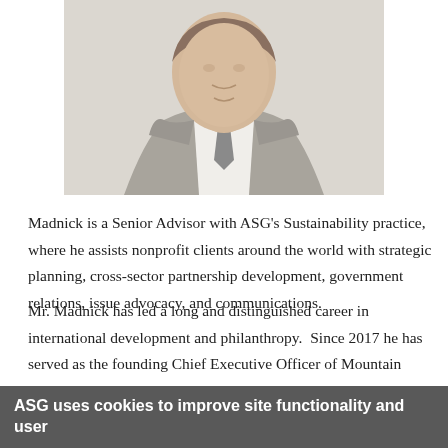[Figure (photo): Headshot of a man in a grey suit and tie, cropped at the chest, white background]
Madnick is a Senior Advisor with ASG's Sustainability practice, where he assists nonprofit clients around the world with strategic planning, cross-sector partnership development, government relations, issue advocacy, and communications.
Mr. Madnick has led a long and distinguished career in international development and philanthropy. Since 2017 he has served as the founding Chief Executive Officer of Mountain Philanthropies. For many years prior, he maintained a highly selective consulting practice advising institutional and family foundations, multinational companies, non-profit organizations, ultra-high net worth individuals, and government agencies.
ASG uses cookies to improve site functionality and user